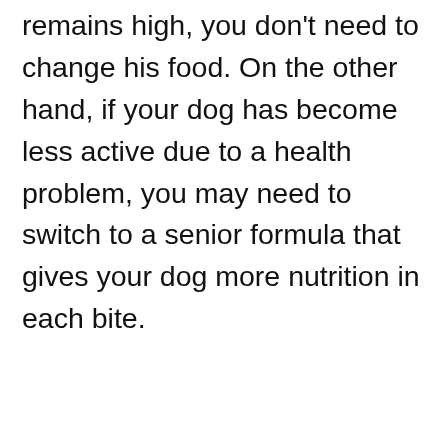remains high, you don't need to change his food. On the other hand, if your dog has become less active due to a health problem, you may need to switch to a senior formula that gives your dog more nutrition in each bite.
If your dog has a kidney problem, you should immediately switch your dog off his current
[Figure (other): CVS Pharmacy advertisement banner showing In-store shopping, Drive-through, and Delivery options with a directions icon]